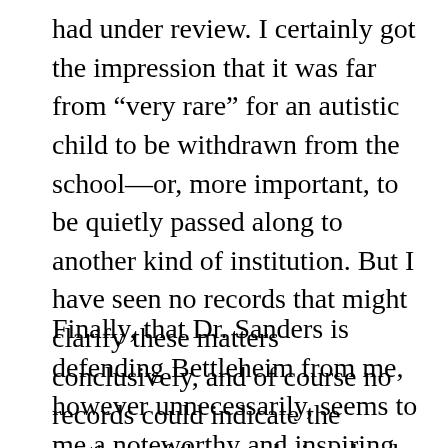had under review. I certainly got the impression that it was far from “very rare” for an autistic child to be withdrawn from the school—or, more important, to be quietly passed along to another kind of institution. But I have seen no records that might clarify these matters conclusively, and of course no records could indicate the motives of the people involved.
Finally, that Dr. Sanders is defending Bettleheim from me, however unnecessarily, seems to me a noteworthy and inspiring act of self-healing. To recklessly overwork the King Lear